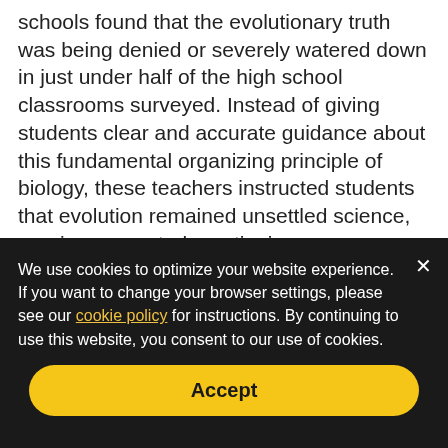schools found that the evolutionary truth was being denied or severely watered down in just under half of the high school classrooms surveyed. Instead of giving students clear and accurate guidance about this fundamental organizing principle of biology, these teachers instructed students that evolution remained unsettled science, or misrepresented creationism as a scientifically credible alternative to evolution. (Some teachers did both.)
We use cookies to optimize your website experience. If you want to change your browser settings, please see our cookie policy for instructions. By continuing to use this website, you consent to our use of cookies.